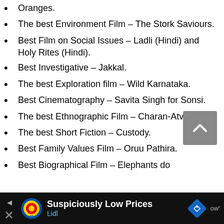Oranges.
The best Environment Film – The Stork Saviours.
Best Film on Social Issues – Ladli (Hindi) and Holy Rites (Hindi).
Best Investigative – Jakkal.
The best Exploration film – Wild Karnataka.
Best Cinematography – Savita Singh for Sonsi.
The best Ethnographic Film – Charan-Atva.
The best Short Fiction – Custody.
Best Family Values Film – Oruu Pathira.
Best Biographical Film – Elephants do
[Figure (other): Lidl advertisement banner at bottom: 'Suspiciously Low Prices' with Lidl logo and navigation icon]